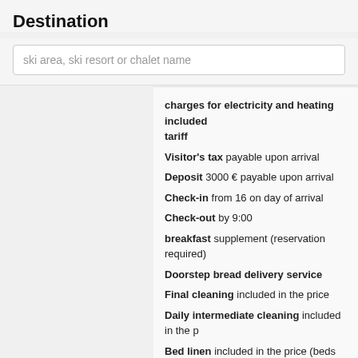Destination
ski area, ski resort or chalet name
charges for electricity and heating included tariff
Visitor's tax payable upon arrival
Deposit 3000 € payable upon arrival
Check-in from 16 on day of arrival
Check-out by 9:00
breakfast supplement (reservation required)
Doorstep bread delivery service
Final cleaning included in the price
Daily intermediate cleaning included in the price
Bed linen included in the price (beds will be made)
Towels included in the price
Pets not allowed
Baby cot 2 x free of charge
Baby chair 1 x free of charge
Charging station for an electric car
Garage for ~4 car(s)